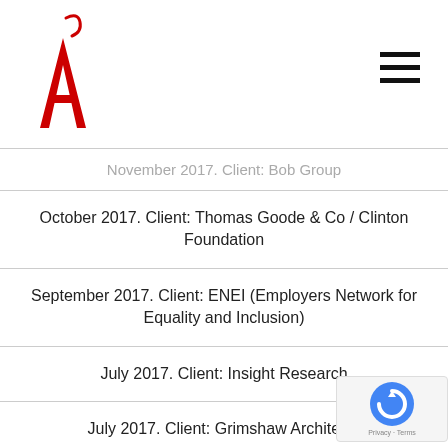AJ logo and navigation
November 2017. Client: Bob Group
October 2017. Client: Thomas Goode & Co / Clinton Foundation
September 2017. Client: ENEI (Employers Network for Equality and Inclusion)
July 2017. Client: Insight Research
July 2017. Client: Grimshaw Architects
June 2017. Client: Clarence House
May 2017. Client: BITC Veolia
April 2017. Client: University of Cambridge
March 2017. Client: Land Aid